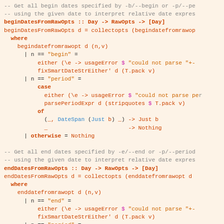-- Get all begin dates specified by -b/--begin or -p/--period
-- using the given date to interpret relative date expressions
beginDatesFromRawOpts :: Day -> RawOpts -> [Day]
beginDatesFromRawOpts d = collectopts (begindatefromrawopt d)
  where
    begindatefromrawopt d (n,v)
      | n == "begin" =
          either (\e -> usageError $ "could not parse "+...
          fixSmartDateStrEither' d (T.pack v)
      | n == "period" =
          case
            either (\e -> usageError $ "could not parse per...
            parsePeriodExpr d (stripquotes $ T.pack v)
          of
            (_, DateSpan (Just b) _) -> Just b
            _                        -> Nothing
      | otherwise = Nothing

-- Get all end dates specified by -e/--end or -p/--period
-- using the given date to interpret relative date expressions
endDatesFromRawOpts :: Day -> RawOpts -> [Day]
endDatesFromRawOpts d = collectopts (enddatefromrawopt d)
  where
    enddatefromrawopt d (n,v)
      | n == "end" =
          either (\e -> usageError $ "could not parse "+...
          fixSmartDateStrEither' d (T.pack v)
      | n == "period" =
          case
            either (\e -> usageError $ "could not parse per...
            parsePeriodExpr d (stripquotes $ T.pack v)